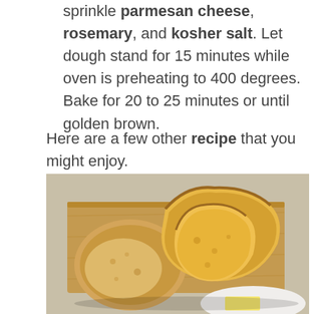sprinkle parmesan cheese, rosemary, and kosher salt. Let dough stand for 15 minutes while oven is preheating to 400 degrees. Bake for 20 to 25 minutes or until golden brown.
Here are a few other recipe that you might enjoy.
[Figure (photo): Sliced golden-brown bread loaf on a wooden cutting board, with a white plate partially visible in the corner, and a butter stick]